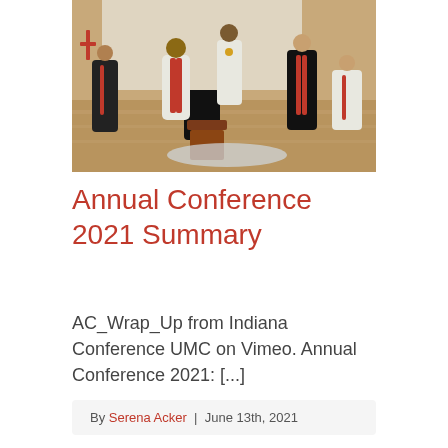[Figure (photo): A religious ordination ceremony with clergy in robes on a wooden floor; a person kneeling at a prayer bench in black vestments, surrounded by officiants in red and white stoles.]
Annual Conference 2021 Summary
AC_Wrap_Up from Indiana Conference UMC on Vimeo. Annual Conference 2021: [...]
By Serena Acker | June 13th, 2021